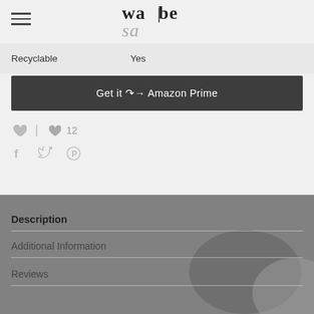wasabe logo and hamburger menu
| Property | Value |
| --- | --- |
| Recyclable | Yes |
Get it ⇢ Amazon Prime
♥ | ♥ 12
Facebook, Twitter, Pinterest social icons
Description
Additional Information
Reviews